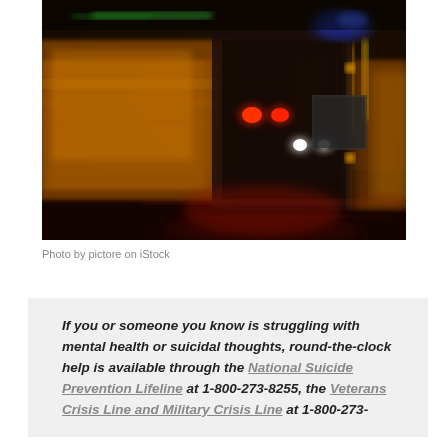[Figure (photo): Night-time motion-blurred photo of a fire truck or emergency vehicle speeding through wet streets, with bright red and white lights, yellow reflective markings, and rain reflections on the road.]
Photo by pictore on iStock
If you or someone you know is struggling with mental health or suicidal thoughts, round-the-clock help is available through the National Suicide Prevention Lifeline at 1-800-273-8255, the Veterans Crisis Line and Military Crisis Line at 1-800-273-